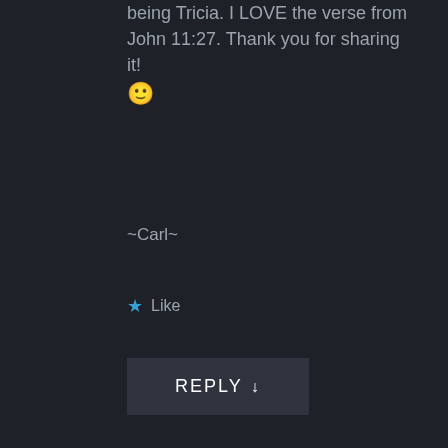being Tricia. I LOVE the verse from John 11:27. Thank you for sharing it! 🙂
~Carl~
★ Like
REPLY ↓
Tricia
October 30, 2015 · 1:47 pm
You're welcome Carl. Writing is really very